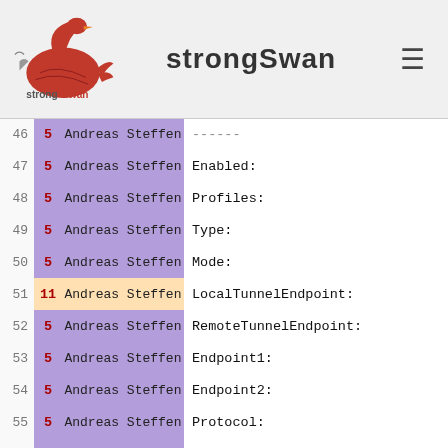strongSwan
| Line | Rev | Author | Code |
| --- | --- | --- | --- |
| 46 | 5 | Andreas Steffen | ------ |
| 47 | 5 | Andreas Steffen | Enabled: |
| 48 | 5 | Andreas Steffen | Profiles: |
| 49 | 5 | Andreas Steffen | Type: |
| 50 | 5 | Andreas Steffen | Mode: |
| 51 | 11 | Andreas Steffen | LocalTunnelEndpoint: |
| 52 | 5 | Andreas Steffen | RemoteTunnelEndpoint: |
| 53 | 5 | Andreas Steffen | Endpoint1: |
| 54 | 5 | Andreas Steffen | Endpoint2: |
| 55 | 5 | Andreas Steffen | Protocol: |
| 56 | 5 | Andreas Steffen | Action: |
| 57 | 11 | Andreas Steffen | Auth1: |
| 58 | 11 | Andreas Steffen | Auth1ECDSAP256CAName:
CN=strongSec 2007 CA |
| 59 | 11 | Andreas Steffen | Auth1ECDSAP256CertMapping: |
| 60 | 11 | Andreas Steffen | Auth1ECDSAP256ExcludeCAName: |
| 61 | 11 | Andreas Steffen | Auth1ECDSAP256CertType: |
| 62 | 11 | Andreas Steffen | Auth1ECDSAP256HealthCert: |
| 63 | 5 | Andreas Steffen | MainModeSecMethods:
SHA256,ECDHP384-AES192-SHA384,DHGr... |